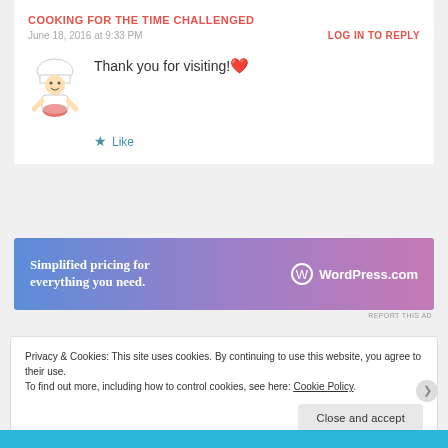COOKING FOR THE TIME CHALLENGED
June 18, 2016 at 9:33 PM
LOG IN TO REPLY
Thank you for visiting! ❤
★ Like
[Figure (illustration): WordPress.com advertisement banner: Simplified pricing for everything you need.]
REPORT THIS AD
Privacy & Cookies: This site uses cookies. By continuing to use this website, you agree to their use. To find out more, including how to control cookies, see here: Cookie Policy
Close and accept